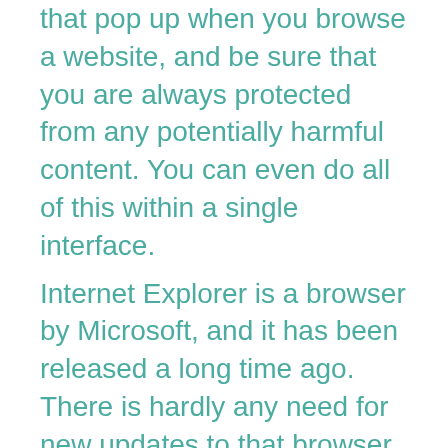that pop up when you browse a website, and be sure that you are always protected from any potentially harmful content. You can even do all of this within a single interface.
Internet Explorer is a browser by Microsoft, and it has been released a long time ago. There is hardly any need for new updates to that browser, so it is already outdated. This doesn't matter though - you don't have to update it. The Adware Doctor can block ads in this browser, too.
Seek and destroy all the bad stuff on the web
Find and remove the bad elements that are slowing down your Internet connection, such as adware, spyware, phishing and potentially harmful scripts. The Adware Doctor will not just find and block them, but it will also seek and destroy them. You can have full control